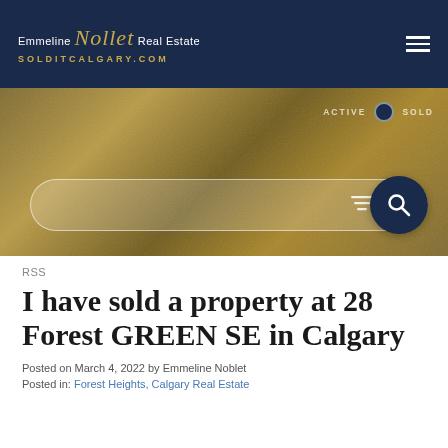[Figure (logo): Emmeline Nollet Real Estate logo with script font and SOLDITCALGARY.COM tagline on dark navy header bar]
[Figure (screenshot): Hero banner with gold/brown textured background, active/sold toggle, filter icon, and search button]
RSS
I have sold a property at 28 Forest GREEN SE in Calgary
Posted on March 4, 2022 by Emmeline Noblet
Posted in: Forest Heights, Calgary Real Estate